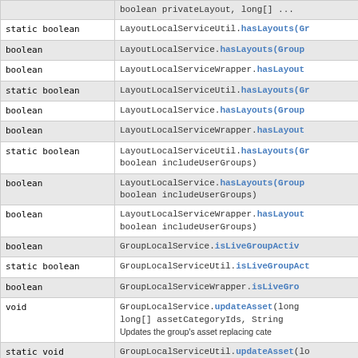| Modifier and Type | Method and Description |
| --- | --- |
| boolean privateLayout, long[] | LayoutLocalServiceUtil.hasLayouts(Gr... |
| static boolean | LayoutLocalServiceUtil.hasLayouts(Gr... |
| boolean | LayoutLocalService.hasLayouts(Group... |
| boolean | LayoutLocalServiceWrapper.hasLayouts... |
| static boolean | LayoutLocalServiceUtil.hasLayouts(Gr... |
| boolean | LayoutLocalService.hasLayouts(Group... |
| boolean | LayoutLocalServiceWrapper.hasLayouts... |
| static boolean | LayoutLocalServiceUtil.hasLayouts(Gr... boolean includeUserGroups) |
| boolean | LayoutLocalService.hasLayouts(Group... boolean includeUserGroups) |
| boolean | LayoutLocalServiceWrapper.hasLayouts... boolean includeUserGroups) |
| boolean | GroupLocalService.isLiveGroupActiv... |
| static boolean | GroupLocalServiceUtil.isLiveGroupAct... |
| boolean | GroupLocalServiceWrapper.isLiveGro... |
| void | GroupLocalService.updateAsset(long... long[] assetCategoryIds, String... Updates the group's asset replacing cate... |
| static void | GroupLocalServiceUtil.updateAsset(lo... long[] assetCategoryIds, String... Updates the group's asset replacing cate... |
| void | GroupLocalServiceWrapper.updateAss... long[] assetCategoryIds, String... |